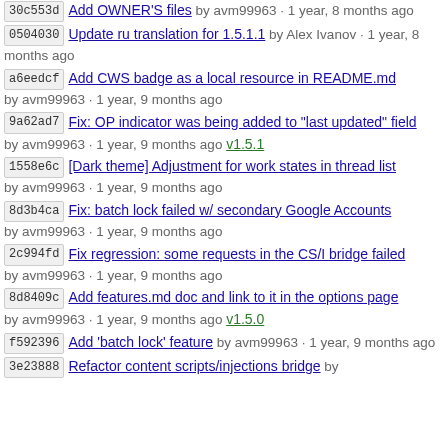30c553d Add OWNER'S files by avm99963 · 1 year, 8 months ago
0504030 Update ru translation for 1.5.1.1 by Alex Ivanov · 1 year, 8 months ago
a6eedcf Add CWS badge as a local resource in README.md by avm99963 · 1 year, 9 months ago
9a62ad7 Fix: OP indicator was being added to "last updated" field by avm99963 · 1 year, 9 months ago v1.5.1
1558e6c [Dark theme] Adjustment for work states in thread list by avm99963 · 1 year, 9 months ago
8d3b4ca Fix: batch lock failed w/ secondary Google Accounts by avm99963 · 1 year, 9 months ago
2c994fd Fix regression: some requests in the CS/I bridge failed by avm99963 · 1 year, 9 months ago
8d8409c Add features.md doc and link to it in the options page by avm99963 · 1 year, 9 months ago v1.5.0
f592396 Add 'batch lock' feature by avm99963 · 1 year, 9 months ago
3e23888 Refactor content scripts/injections bridge by